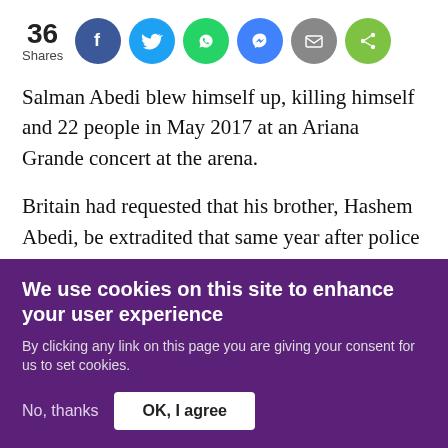[Figure (infographic): Social share bar showing 36 Shares with icons for Facebook, Twitter, WhatsApp, Messenger, Email, and generic Share]
Salman Abedi blew himself up, killing himself and 22 people in May 2017 at an Ariana Grande concert at the arena.
Britain had requested that his brother, Hashem Abedi, be extradited that same year after police issued an arrest warrant against him for murder, attempted murder and conspiracy to cause an explosion.
We use cookies on this site to enhance your user experience
By clicking any link on this page you are giving your consent for us to set cookies.